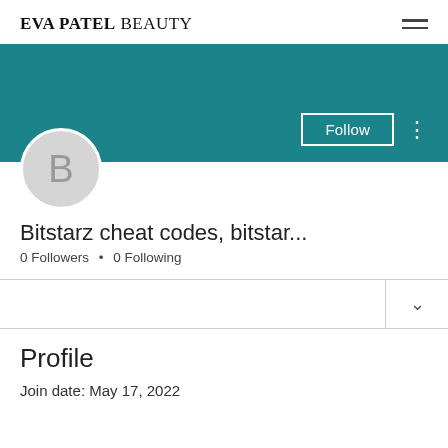EVA PATEL BEAUTY
[Figure (screenshot): Teal/dark cyan banner image as profile cover background]
[Figure (illustration): Circular grey avatar with letter B]
Bitstarz cheat codes, bitstar...
0 Followers • 0 Following
Profile
Join date: May 17, 2022